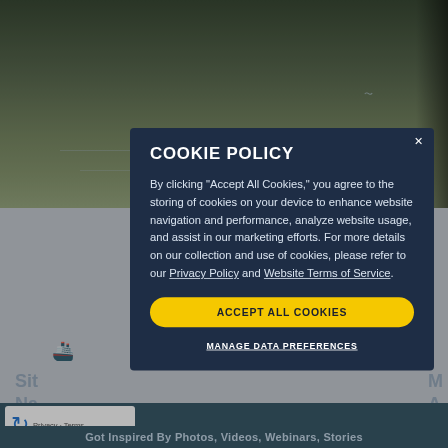[Figure (screenshot): Background website content showing a water/nature scene with navigation elements, partially obscured by a cookie consent modal overlay. Page background shows blue-grey tones with boat icons and partially visible text.]
COOKIE POLICY
By clicking "Accept All Cookies," you agree to the storing of cookies on your device to enhance website navigation and performance, analyze website usage, and assist in our marketing efforts. For more details on our collection and use of cookies, please refer to our Privacy Policy and Website Terms of Service.
ACCEPT ALL COOKIES
MANAGE DATA PREFERENCES
Got Inspired By Photos, Videos, Webinars, Stories